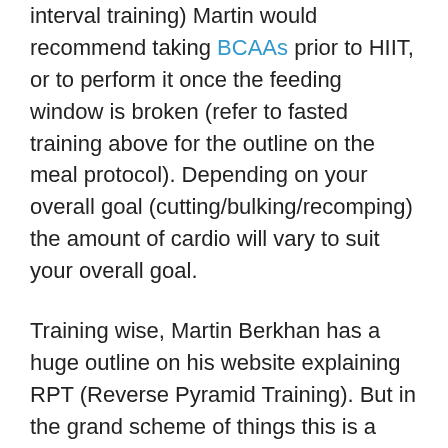interval training) Martin would recommend taking BCAAs prior to HIIT, or to perform it once the feeding window is broken (refer to fasted training above for the outline on the meal protocol). Depending on your overall goal (cutting/bulking/recomping) the amount of cardio will vary to suit your overall goal.
Training wise, Martin Berkhan has a huge outline on his website explaining RPT (Reverse Pyramid Training). But in the grand scheme of things this is a lifestyle diet, so any type of training that you find that suits you should take priority. Regardless of your split this is more based off meal timing and frequency than training wise, but I did want to touch on the subject.